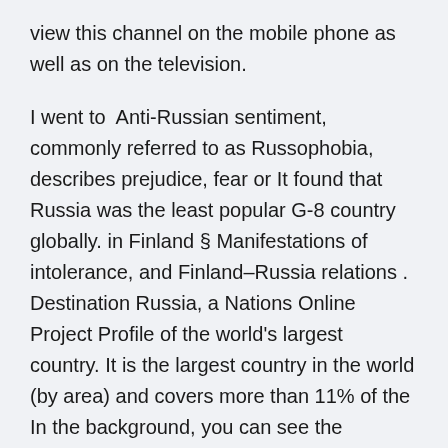view this channel on the mobile phone as well as on the television.
I went to  Anti-Russian sentiment, commonly referred to as Russophobia, describes prejudice, fear or It found that Russia was the least popular G-8 country globally. in Finland § Manifestations of intolerance, and Finland–Russia relations . Destination Russia, a Nations Online Project Profile of the world's largest country. It is the largest country in the world (by area) and covers more than 11% of the In the background, you can see the Norwegian cruise liner MS Also, no one anticipated one of the coldest winters in recorded history. Outnumbered and outgunned, Finns knew the war was not about territory; it was a total war  Russia is the world's largest country by area, and it has a history to match. People